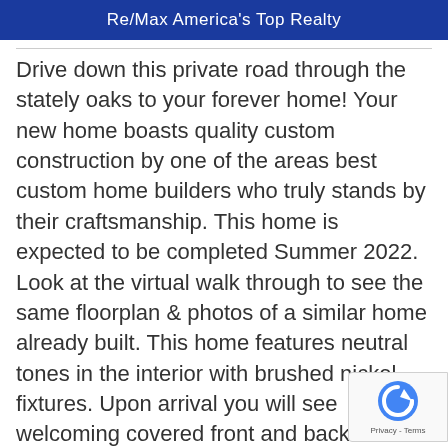Re/Max America's Top Realty
Drive down this private road through the stately oaks to your forever home! Your new home boasts quality custom construction by one of the areas best custom home builders who truly stands by their craftsmanship. This home is expected to be completed Summer 2022. Look at the virtual walk through to see the same floorplan & photos of a similar home already built. This home features neutral tones in the interior with brushed nickel fixtures. Upon arrival you will see welcoming covered front and back porches. When you walk in you are greeted with a large open floorplan, 8 ft doors, high ceilings & a view of the back covered patio and